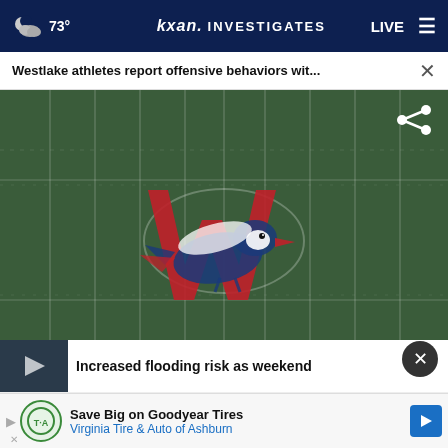73° kxan. INVESTIGATES LIVE
Westlake athletes report offensive behaviors wit... ×
[Figure (screenshot): Westlake High School football field aerial view with Westlake Chaparrals logo (red W with bird mascot) painted at midfield on green turf with white yard lines]
Increased flooding risk as weekend
Save Big on Goodyear Tires Virginia Tire & Auto of Ashburn
Crash with semis blocks I-35 nort